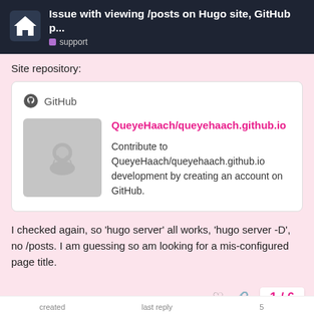Issue with viewing /posts on Hugo site, GitHub p... support
Site repository:
[Figure (screenshot): GitHub repository card for QueyeHaach/queyehaach.github.io with GitHub octocat logo and description: Contribute to QueyeHaach/queyehaach.github.io development by creating an account on GitHub.]
I checked again, so ‘hugo server’ all works, ‘hugo server -D’, no /posts. I am guessing so am looking for a mis-configured page title.
1 / 6
created   last reply   5